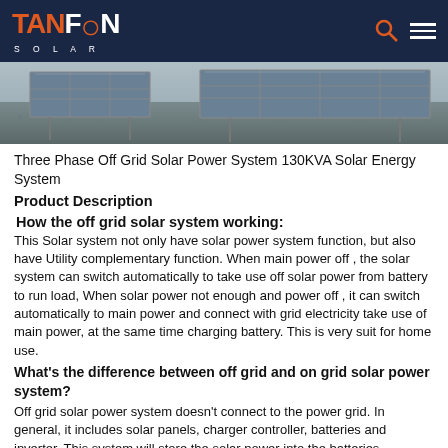TANFON SOLAR
[Figure (photo): Aerial or ground-level photo of a solar panel installation showing panels mounted over gravel/ground surface]
Three Phase Off Grid Solar Power System 130KVA Solar Energy System
Product Description
How the off grid solar system working:
This Solar system not only have solar power system function, but also have Utility complementary function. When main power off , the solar system can switch automatically to take use off solar power from battery to run load, When solar power not enough and power off , it can switch automatically to main power and connect with grid electricity take use of main power, at the same time charging battery. This is very suit for home use.
What's the difference between off grid and on grid solar power system?
Off grid solar power system doesn't connect to the power grid. In general, it includes solar panels, charger controller, batteries and inverter. This system will store the solar power into the batteries, batteries energy will be converted the electricity power to supply the